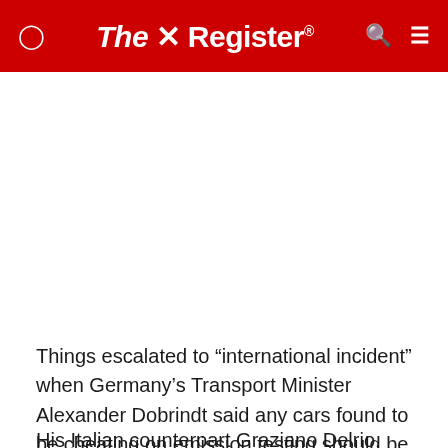The Register
Things escalated to “international incident” when Germany’s Transport Minister Alexander Dobrindt said any cars found to be cheating on emission testing should be recalled.
His Italian counterpart Graziano Delrio, forgetting